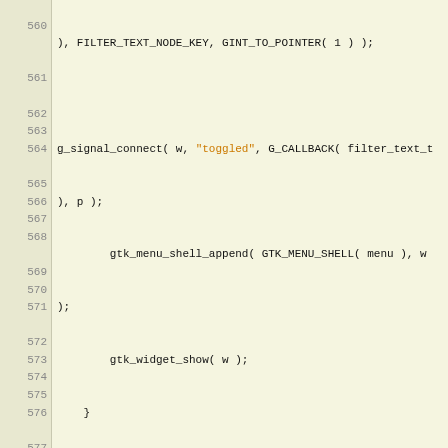[Figure (screenshot): Source code listing showing C code for a GTK application, lines 560-583, with line numbers on the left and syntax-highlighted code on the right. String literals are shown in orange/amber. Comments are shown in gray italic. Keywords and identifiers in dark/black.]